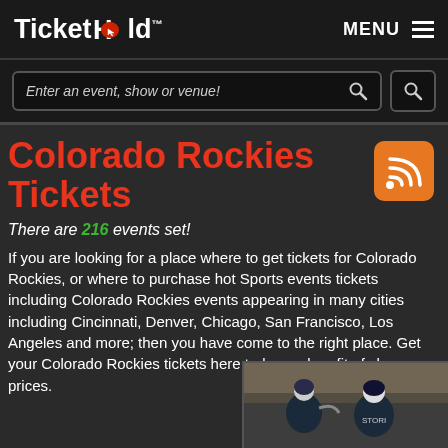TicketHold™   MENU
Enter an event, show or venue!
Colorado Rockies Tickets
There are 216 events set!
If you are looking for a place where to get tickets for Colorado Rockies, or where to purchase hot Sports events tickets including Colorado Rockies events appearing in many cities including Cincinnati, Denver, Chicago, San Francisco, Los Angeles and more; then you have come to the right place. Get your Colorado Rockies tickets here today and profit of cheap prices.
[Figure (photo): Photo of Colorado Rockies baseball players celebrating]